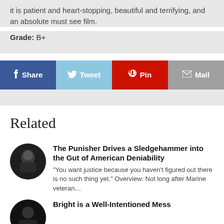it is patient and heart-stopping, beautiful and terrifying, and an absolute must see film.
Grade: B+
[Figure (infographic): Social share button bar with Facebook Share (dark blue), Tweet (light blue), Pin (red), and Mail (gray) buttons]
Related
The Punisher Drives a Sledgehammer into the Gut of American Deniability
“You want justice because you haven’t figured out there is no such thing yet.” Overview: Not long after Marine veteran…
Bright is a Well-Intentioned Mess